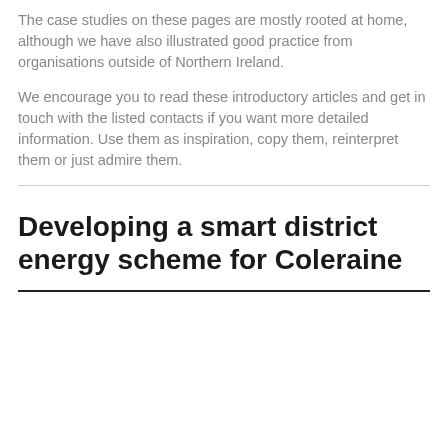The case studies on these pages are mostly rooted at home, although we have also illustrated good practice from organisations outside of Northern Ireland.
We encourage you to read these introductory articles and get in touch with the listed contacts if you want more detailed information. Use them as inspiration, copy them, reinterpret them or just admire them.
Developing a smart district energy scheme for Coleraine